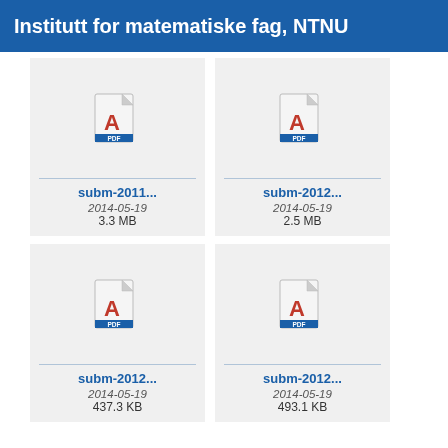Institutt for matematiske fag, NTNU
[Figure (illustration): PDF file icon for subm-2011...]
subm-2011...
2014-05-19
3.3 MB
[Figure (illustration): PDF file icon for subm-2012...]
subm-2012...
2014-05-19
2.5 MB
[Figure (illustration): PDF file icon for subm-2012...]
subm-2012...
2014-05-19
437.3 KB
[Figure (illustration): PDF file icon for subm-2012...]
subm-2012...
2014-05-19
493.1 KB